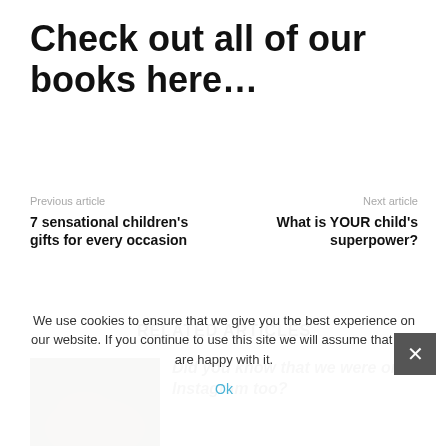Check out all of our books here…
Previous article
7 sensational children's gifts for every occasion
Next article
What is YOUR child's superpower?
RELATED ARTICLES
[Figure (photo): Book thumbnail with 'Fiery dragons' label on dark background]
Did you know that we were on Instagram too?
We use cookies to ensure that we give you the best experience on our website. If you continue to use this site we will assume that you are happy with it.
Ok
[Figure (photo): Dark thumbnail image]
Imagine that! An inspiring